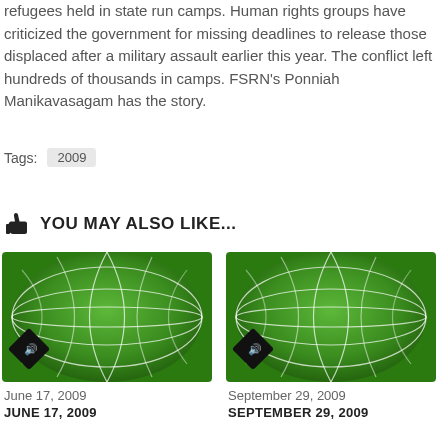refugees held in state run camps. Human rights groups have criticized the government for missing deadlines to release those displaced after a military assault earlier this year. The conflict left hundreds of thousands in camps. FSRN's Ponniah Manikavasagam has the story.
Tags:  2009
YOU MAY ALSO LIKE...
[Figure (photo): Green globe/world map graphic with white lines and a speaker/audio icon badge, dated June 17, 2009]
June 17, 2009
JUNE 17, 2009
[Figure (photo): Green globe/world map graphic with white lines and a speaker/audio icon badge, dated September 29, 2009]
September 29, 2009
SEPTEMBER 29, 2009